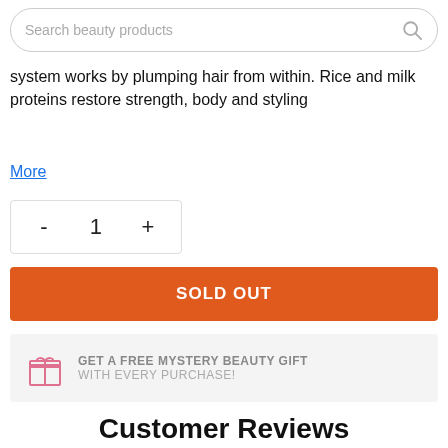Search beauty products
system works by plumping hair from within. Rice and milk proteins restore strength, body and styling
More
- 1 +
SOLD OUT
GET A FREE MYSTERY BEAUTY GIFT WITH EVERY PURCHASE!
Customer Reviews
Based on 1 review Write a review